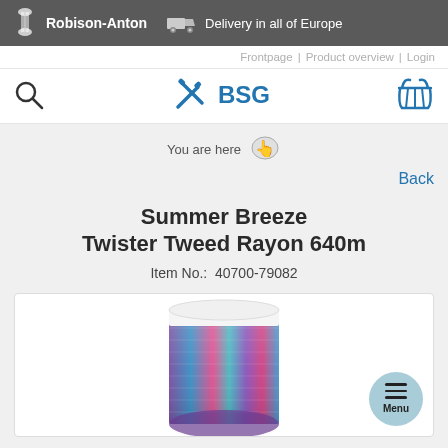Robison-Anton | Delivery in all of Europe
Frontpage | Product overview | Login
[Figure (logo): BSG logo with crossed tools icon]
You are here
Back
Summer Breeze
Twister Tweed Rayon 640m
Item No.:  40700-79082
[Figure (photo): Thread spool of Summer Breeze Twister Tweed Rayon 640m, showing a cone-shaped spool of shimmery blue-purple-pink multicolor thread]